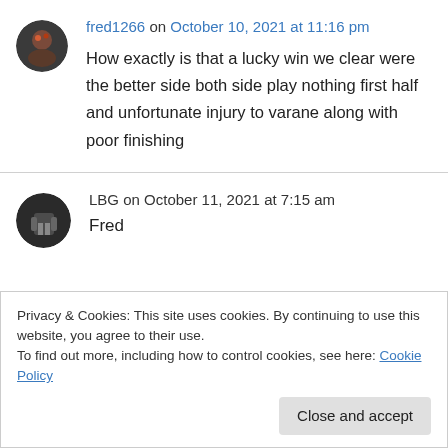fred1266 on October 10, 2021 at 11:16 pm
How exactly is that a lucky win we clear were the better side both side play nothing first half and unfortunate injury to varane along with poor finishing
LBG on October 11, 2021 at 7:15 am
Fred
Privacy & Cookies: This site uses cookies. By continuing to use this website, you agree to their use.
To find out more, including how to control cookies, see here: Cookie Policy
Close and accept